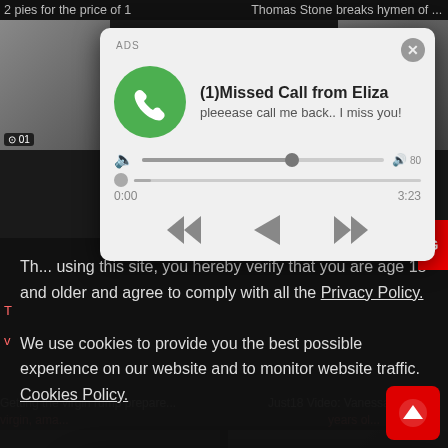2 pies for the price of 1   Thomas Stone breaks hymen of ...
cream...   sm, ...
[Figure (screenshot): Missed call notification popup with green phone icon, title '(1)Missed Call from Eliza', subtitle 'pleeease call me back.. I miss you!', audio progress bar showing 0:00 to 3:23, and playback controls]
Getting the virgin rump prepare...   Just18 Video: Vanessa Figueroa
virgin, ama...   years ol...
[Figure (screenshot): Angel typing notification popup with avatar, LIVE badge, pink gradient background, ADS label, 'Angel is typing ... 💬', '(1) unread message']
Th... using this site, you hereby verify that you are age 18 and older and agree to comply with all the Privacy Policy.
We use cookies to provide you the best possible experience on our website and to monitor website traffic. Cookies Policy.